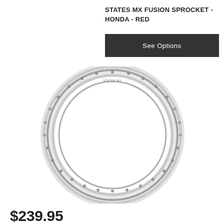STATES MX FUSION SPROCKET - HONDA - RED
See Options
[Figure (photo): A silver aluminum motorcycle wheel rim ring viewed from the front, circular shape with spoke holes visible around the inner edge.]
$239.95